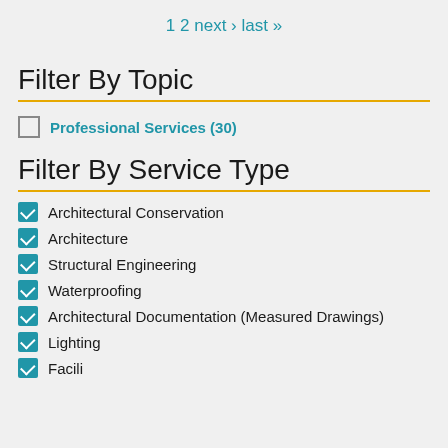1  2  next›  last»
Filter By Topic
Professional Services (30)
Filter By Service Type
Architectural Conservation
Architecture
Structural Engineering
Waterproofing
Architectural Documentation (Measured Drawings)
Lighting
Facility (partially visible)